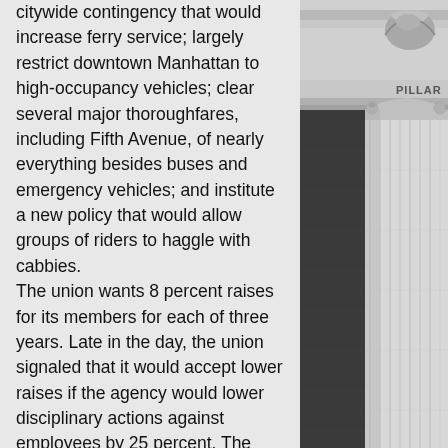citywide contingency that would increase ferry service; largely restrict downtown Manhattan to high-occupancy vehicles; clear several major thoroughfares, including Fifth Avenue, of nearly everything besides buses and emergency vehicles; and institute a new policy that would allow groups of riders to haggle with cabbies. The union wants 8 percent raises for its members for each of three years. Late in the day, the union signaled that it would accept lower raises if the agency would lower disciplinary actions against employees by 25 percent. The union did not specify by how much lower it would be willing to go. The day of stop-and-start negotiations was punctuated by sharp criticism of the
[Figure (photo): Black and white photograph of a classical building column and architectural details including a cornice with decorative carvings and the partial text 'PILLAR' visible on the stonework]